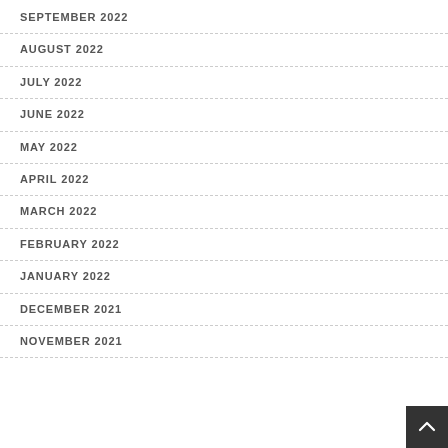SEPTEMBER 2022
AUGUST 2022
JULY 2022
JUNE 2022
MAY 2022
APRIL 2022
MARCH 2022
FEBRUARY 2022
JANUARY 2022
DECEMBER 2021
NOVEMBER 2021